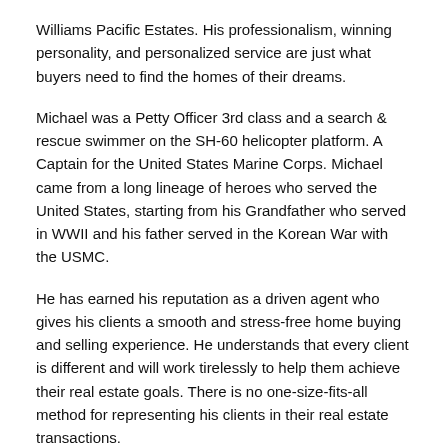Williams Pacific Estates. His professionalism, winning personality, and personalized service are just what buyers need to find the homes of their dreams.
Michael was a Petty Officer 3rd class and a search & rescue swimmer on the SH-60 helicopter platform. A Captain for the United States Marine Corps. Michael came from a long lineage of heroes who served the United States, starting from his Grandfather who served in WWII and his father served in the Korean War with the USMC.
He has earned his reputation as a driven agent who gives his clients a smooth and stress-free home buying and selling experience. He understands that every client is different and will work tirelessly to help them achieve their real estate goals. There is no one-size-fits-all method for representing his clients in their real estate transactions.
Track Record of Success
Michael Thue has a long track record of success during his time in the